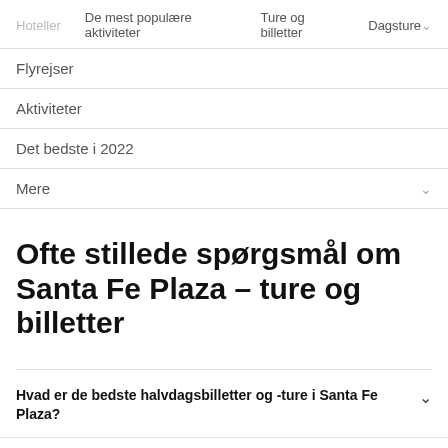Hoteller  De mest populære aktiviteter  Ture og billetter  Dagsture
Flyrejser
Aktiviteter
Det bedste i 2022
Mere
Ofte stillede spørgsmål om Santa Fe Plaza – ture og billetter
Hvad er de bedste halvdagsbilletter og -ture i Santa Fe Plaza?
Hvad er de bedste billetter og ture uden guide i